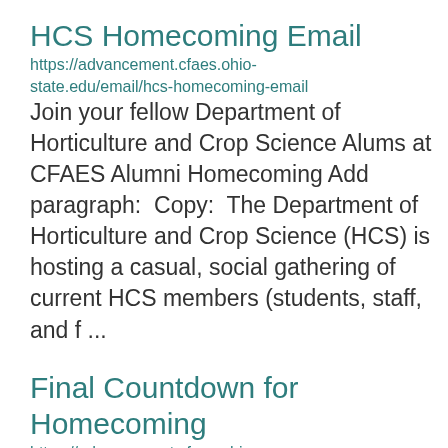HCS Homecoming Email
https://advancement.cfaes.ohio-state.edu/email/hcs-homecoming-email
Join your fellow Department of Horticulture and Crop Science Alums at CFAES Alumni Homecoming Add paragraph:  Copy:  The Department of Horticulture and Crop Science (HCS) is hosting a casual, social gathering of current HCS members (students, staff, and f ...
Final Countdown for Homecoming
https://advancement.cfaes.ohio-state.edu/final-countdown-homecoming